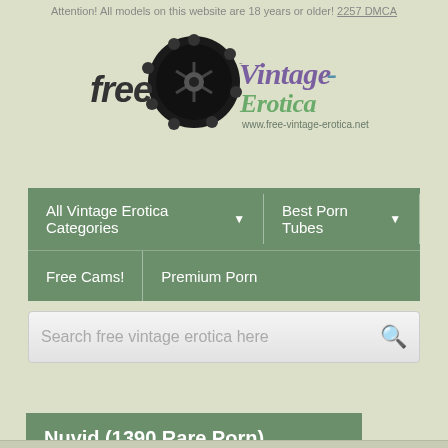Attention! All models on this website are 18 years or older! 2257 DMCA
[Figure (logo): free Vintage-Erotica logo with film reel and stylized text, www.free-vintage-erotica.net]
All Vintage Erotica Categories ▾    Best Porn Tubes ▾    Free Cams!    Premium Porn
Search free vintage erotica here
Nuvid (1390 Rare Porn)